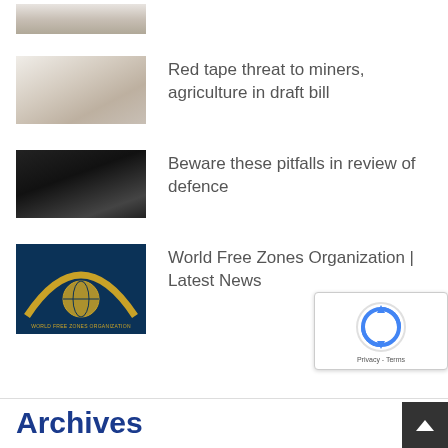[Figure (photo): Thumbnail image - light beige/tan gradient photo (partial top, cropped)]
Red tape threat to miners, agriculture in draft bill
[Figure (photo): Thumbnail image - dark/black silhouette photo]
Beware these pitfalls in review of defence
[Figure (logo): World Free Zones Organization logo - dark blue background with gold arc and globe graphic, text WORLD FREE ZONES ORGANIZATION]
World Free Zones Organization | Latest News
[Figure (other): reCAPTCHA widget overlay with recycle arrows icon and Privacy - Terms text]
Archives
[Figure (other): Scroll-to-top button, dark background with upward arrow]